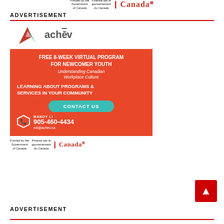Funded by the Government of Canada | Financé par le gouvernement du Canada | Canada
ADVERTISEMENT
[Figure (logo): ACHEV logo with stylized A mark in red and teal, followed by 'achēv' text]
[Figure (infographic): Orange advertisement box for ACHEV: FREE 8-WEEK VIRTUAL PROGRAM FOR NEWCOMER YOUTH. Understanding Canadian Workplace Culture. LEARNING ABOUT PROGRAMS & SERVICES IN YOUR COMMUNITY. CONTACT US button. MANDY LI 905-460-4434 mli@achev.ca]
[Figure (logo): Funded by the Government of Canada / Financé par le gouvernement du Canada | Canada wordmark logo]
ADVERTISEMENT